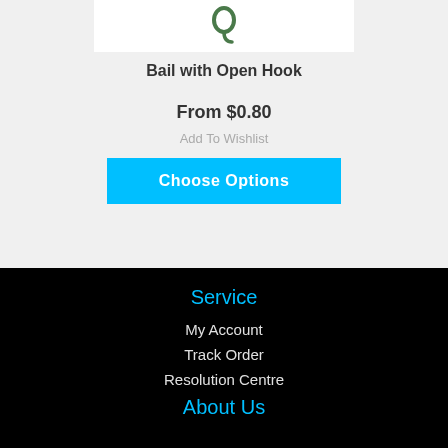[Figure (photo): Small product photo of a Bail with Open Hook jewelry component, shown at top of page]
Bail with Open Hook
From $0.80
Add To Wishlist
Choose Options
Service
My Account
Track Order
Resolution Centre
About Us